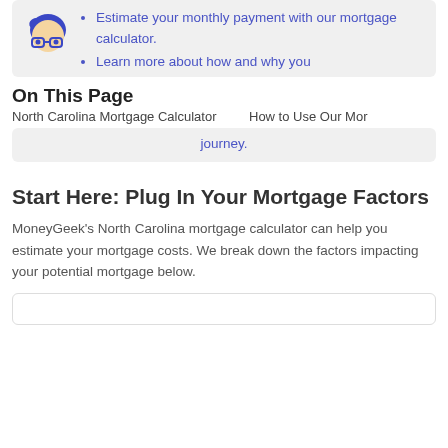Estimate your monthly payment with our mortgage calculator.
Learn more about how and why you
On This Page
North Carolina Mortgage Calculator    How to Use Our Mor
journey.
Start Here: Plug In Your Mortgage Factors
MoneyGeek's North Carolina mortgage calculator can help you estimate your mortgage costs. We break down the factors impacting your potential mortgage below.